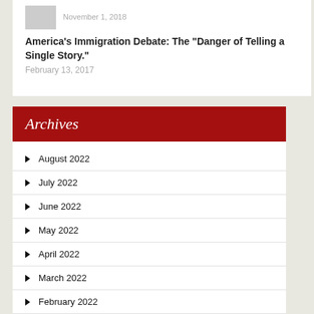November 1, 2018
America’s Immigration Debate: The “Danger of Telling a Single Story.”
February 13, 2017
Archives
August 2022
July 2022
June 2022
May 2022
April 2022
March 2022
February 2022
January 2022
December 2021